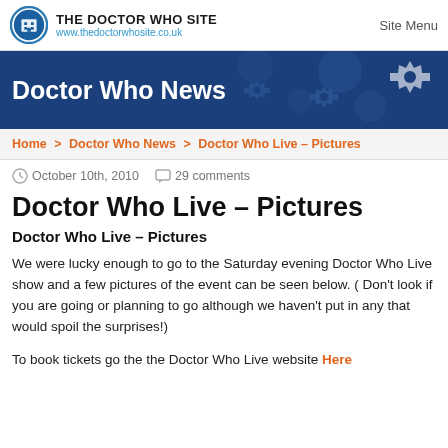THE DOCTOR WHO SITE www.thedoctorwhosite.co.uk | Site Menu
[Figure (illustration): Dark blue banner with gear/cog decorative elements and circular shapes in blue tones. Contains 'Doctor Who News' title text.]
Home > Doctor Who News > Doctor Who Live – Pictures
October 10th, 2010  29 comments
Doctor Who Live – Pictures
Doctor Who Live – Pictures
We were lucky enough to go to the Saturday evening Doctor Who Live show and a few pictures of the event can be seen below. ( Don't look if you are going or planning to go although we haven't put in any that would spoil the surprises!)
To book tickets go the the Doctor Who Live website Here